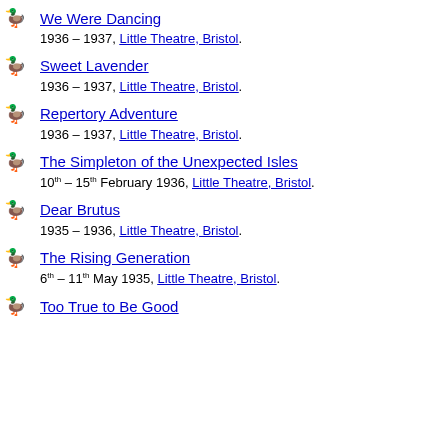We Were Dancing
1936 – 1937, Little Theatre, Bristol.
Sweet Lavender
1936 – 1937, Little Theatre, Bristol.
Repertory Adventure
1936 – 1937, Little Theatre, Bristol.
The Simpleton of the Unexpected Isles
10th – 15th February 1936, Little Theatre, Bristol.
Dear Brutus
1935 – 1936, Little Theatre, Bristol.
The Rising Generation
6th – 11th May 1935, Little Theatre, Bristol.
Too True to Be Good (partial, cut off)